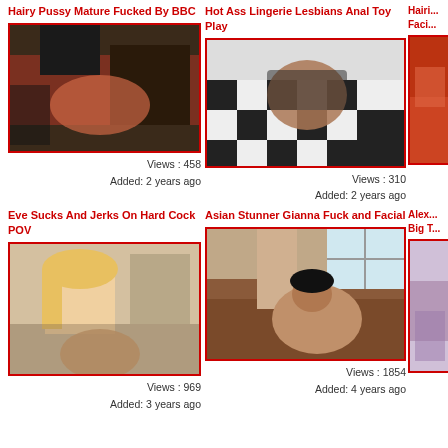Hairy Pussy Mature Fucked By BBC
[Figure (photo): Video thumbnail showing adult content]
Views : 458
Added: 2 years ago
Hot Ass Lingerie Lesbians Anal Toy Play
[Figure (photo): Video thumbnail showing adult content]
Views : 310
Added: 2 years ago
Hairy Faci
[Figure (photo): Partial video thumbnail]
Eve Sucks And Jerks On Hard Cock POV
[Figure (photo): Video thumbnail showing adult content]
Views : 969
Added: 3 years ago
Asian Stunner Gianna Fuck and Facial
[Figure (photo): Video thumbnail showing adult content]
Views : 1854
Added: 4 years ago
Alex Big T
[Figure (photo): Partial video thumbnail]